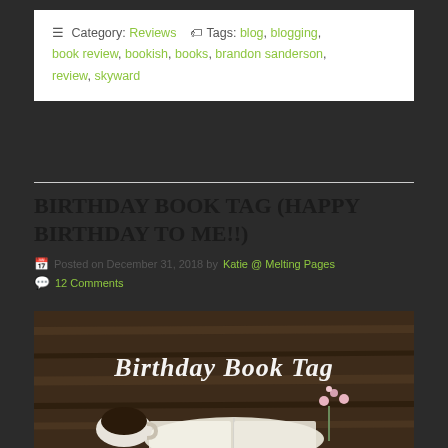Category: Reviews  Tags: blog, blogging, book review, bookish, books, brandon sanderson, review, skyward
BIRTHDAY BOOK TAG (HAPPY BIRTHDAY TO ME!!)
Posted on December 31, 2018 by Katie @ Melting Pages
12 Comments
[Figure (photo): Photo of an open book on a wooden table with a coffee cup and flowers, overlaid with white cursive text reading 'Birthday Book Tag']